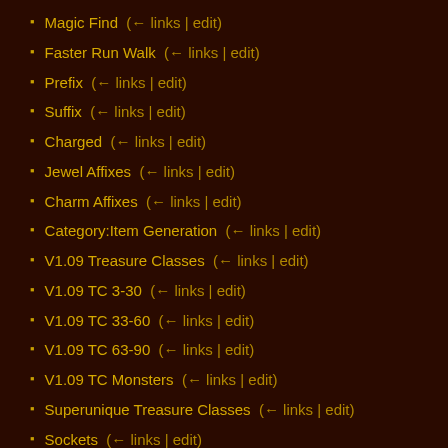Magic Find  (← links | edit)
Faster Run Walk  (← links | edit)
Prefix  (← links | edit)
Suffix  (← links | edit)
Charged  (← links | edit)
Jewel Affixes  (← links | edit)
Charm Affixes  (← links | edit)
Category:Item Generation  (← links | edit)
V1.09 Treasure Classes  (← links | edit)
V1.09 TC 3-30  (← links | edit)
V1.09 TC 33-60  (← links | edit)
V1.09 TC 63-90  (← links | edit)
V1.09 TC Monsters  (← links | edit)
Superunique Treasure Classes  (← links | edit)
Sockets  (← links | edit)